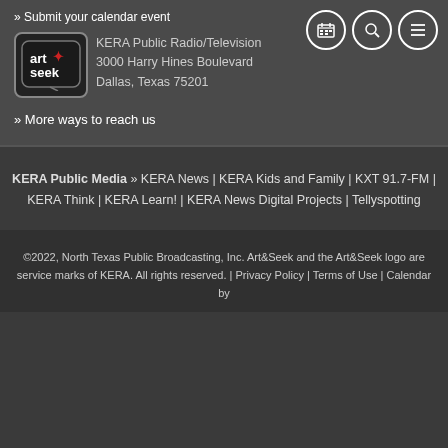» Submit your calendar event
[Figure (logo): Art&Seek logo — stylized text in a rounded rectangle with a red star/plus icon]
KERA Public Radio/Television
3000 Harry Hines Boulevard
Dallas, Texas 75201
» More ways to reach us
KERA Public Media » KERA News | KERA Kids and Family | KXT 91.7-FM | KERA Think | KERA Learn! | KERA News Digital Projects | Tellyspotting
©2022, North Texas Public Broadcasting, Inc. Art&Seek and the Art&Seek logo are service marks of KERA. All rights reserved. | Privacy Policy | Terms of Use | Calendar by